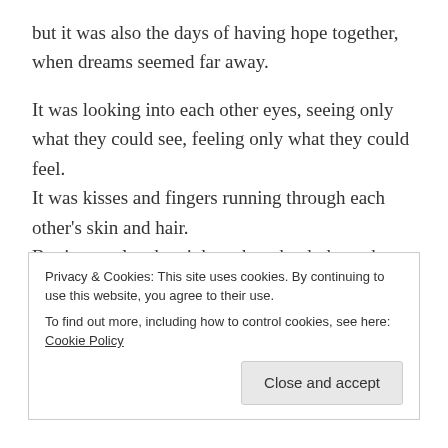but it was also the days of having hope together, when dreams seemed far away.
It was looking into each other eyes, seeing only what they could see, feeling only what they could feel. It was kisses and fingers running through each other's skin and hair. But it was also the nights when the dark weakness in their soul prevailed, and even though it hurt to find it, it was the nights when he held Lyra's hand to say a prayer to the God.
Privacy & Cookies: This site uses cookies. By continuing to use this website, you agree to their use. To find out more, including how to control cookies, see here: Cookie Policy